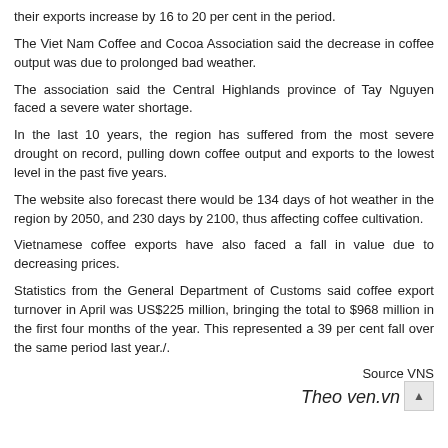their exports increase by 16 to 20 per cent in the period.
The Viet Nam Coffee and Cocoa Association said the decrease in coffee output was due to prolonged bad weather.
The association said the Central Highlands province of Tay Nguyen faced a severe water shortage.
In the last 10 years, the region has suffered from the most severe drought on record, pulling down coffee output and exports to the lowest level in the past five years.
The website also forecast there would be 134 days of hot weather in the region by 2050, and 230 days by 2100, thus affecting coffee cultivation.
Vietnamese coffee exports have also faced a fall in value due to decreasing prices.
Statistics from the General Department of Customs said coffee export turnover in April was US$225 million, bringing the total to $968 million in the first four months of the year. This represented a 39 per cent fall over the same period last year./.
Source VNS
Theo ven.vn